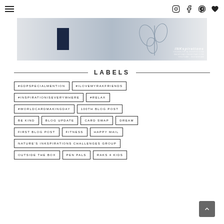Navigation bar with hamburger menu and social icons (Instagram, Facebook, Pinterest, Heart)
[Figure (photo): Photo banner showing crafting/card-making materials with navy blue accent and INKspirations watermark]
LABELS
#GDPSPECIALMENTION
#ILOVEMYRAKFRIENDS
#INSPIRATIONISEVERYWHERE
#RELAX
#WORLDCARDMAKINGDAY
100TH BLOG POST
BE KIND
BLOG UPDATE
CARD SWAP
DREAM
FIRST BLOG POST
FITNESS
HAPPY MAIL
NATURE'S INKSPIRATIONS CHALLENGES GROUP
OUTSIDE THE BOX
PEN PALS
RAKS 4 KIDS